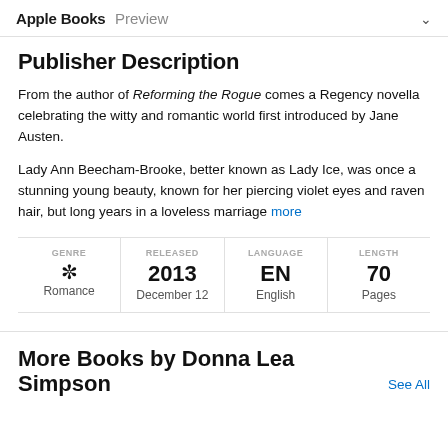Apple Books Preview
Publisher Description
From the author of Reforming the Rogue comes a Regency novella celebrating the witty and romantic world first introduced by Jane Austen.
Lady Ann Beecham-Brooke, better known as Lady Ice, was once a stunning young beauty, known for her piercing violet eyes and raven hair, but long years in a loveless marriage more
| GENRE | RELEASED | LANGUAGE | LENGTH |
| --- | --- | --- | --- |
| ✼ | 2013 | EN | 70 |
| Romance | December 12 | English | Pages |
More Books by Donna Lea Simpson
See All